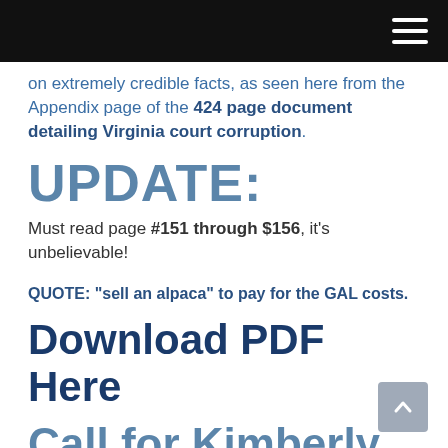on extremely credible facts, as seen here from the Appendix page of the 424 page document detailing Virginia court corruption.
UPDATE:
Must read page #151 through $156, it's unbelievable!
QUOTE: “sell an alpaca” to pay for the GAL costs.
Download PDF Here
Call for Kimberly